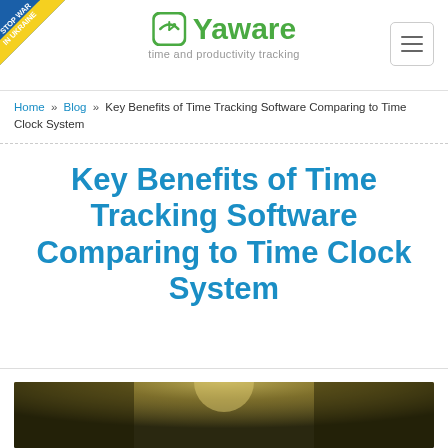[Figure (logo): Yaware logo with green icon and tagline 'time and productivity tracking']
Home » Blog » Key Benefits of Time Tracking Software Comparing to Time Clock System
Key Benefits of Time Tracking Software Comparing to Time Clock System
[Figure (photo): Photo at bottom of page showing a blurred background with light source, partially visible]